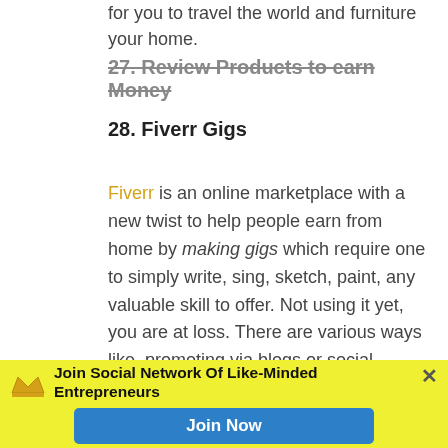for you to travel the world and furniture your home.
27. Review Products to earn Money
28. Fiverr Gigs
Fiverr is an online marketplace with a new twist to help people earn from home by making gigs which require one to simply write, sing, sketch, paint, any valuable skill to offer. Not using it yet, you are at loss. There are various ways like, promoting via blogs or social media, style clothes in your unique way, sell your diet plan and more.
29. Website developing
Website development is one easiest way to make
Join Social Network Of Like-Minded Entrepreneurs